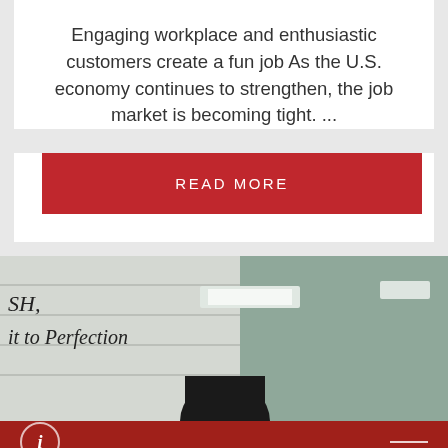Engaging workplace and enthusiastic customers create a fun job As the U.S. economy continues to strengthen, the job market is becoming tight. ...
READ MORE
[Figure (photo): Office interior photo showing a wall with cursive writing 'SH, it to Perfection', glass partitions, ceiling lights, and a yellow-green sign reading 'Fresh before...' A dark figure/person is visible in the foreground.]
This website uses cookies to improve your experience. We'll assume you're ok with this, but you can opt-out if you wish.
Cookie settings
ACCEPT